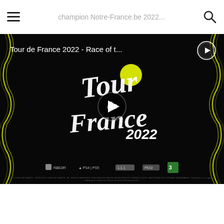champion Notre-France.be 2022...
[Figure (screenshot): Tour de France 2022 video thumbnail with black background, yellow wavy tire track decorations on left and right, Tour de France 2022 logo in white script lettering with yellow circle accent, circular play button overlay in center, publisher logos at bottom including Nacon, PlayStation, and other brands. Title text 'Tour de France 2022 - Race of t...' in white top-left, circular play icon top-right.]